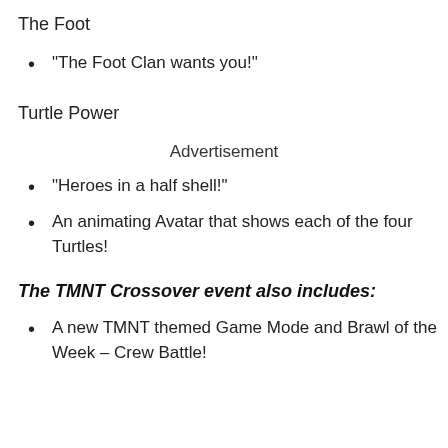The Foot
“The Foot Clan wants you!”
Turtle Power
Advertisement
“Heroes in a half shell!”
An animating Avatar that shows each of the four Turtles!
The TMNT Crossover event also includes:
A new TMNT themed Game Mode and Brawl of the Week – Crew Battle!